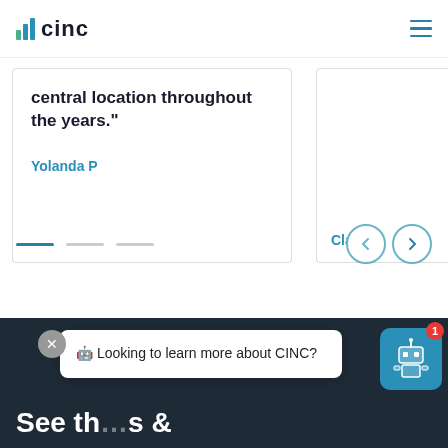CINC
central location throughout the years."
Yolanda P
Clayton
[Figure (other): Carousel navigation: three horizontal dashes (active, inactive, inactive) and previous/next arrow buttons]
[Figure (other): Dark footer section with text 'See th...s &' and subline partially visible]
🤖 Looking to learn more about CINC?